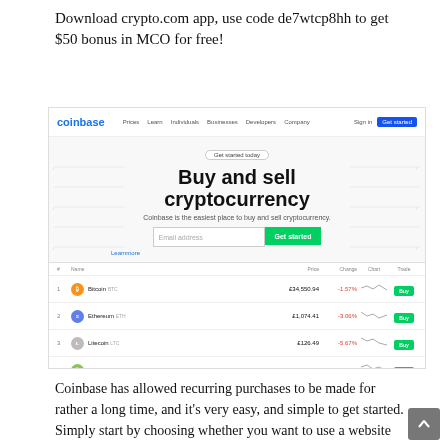Download crypto.com app, use code de7wtcp8hh to get $50 bonus in MCO for free!
[Figure (screenshot): Screenshot of the Coinbase website homepage showing a navigation bar with 'coinbase' logo and links (Prices, Learn, Individuals, Businesses, Developers, Company, Sign in, Get started), a hero section with 'Get started today' badge, headline 'Buy and sell cryptocurrency', subtitle 'Coinbase is the easiest place to buy and sell cryptocurrency.', an email input field and green 'Get started' button, and a price table showing Bitcoin (BTC) £34,550.94 -1.57% Buy, Ethereum (ETH) £1,074.41 -3.06% Buy, Litecoin (LTC) £126.49 -5.67% Buy, Bitcoin Cash (BCH) £367.70 -2.07% Buy]
Coinbase has allowed recurring purchases to be made for rather a long time, and it's very easy, and simple to get started. Simply start by choosing whether you want to use a website